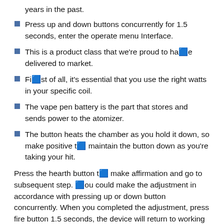years in the past.
Press up and down buttons concurrently for 1.5 seconds, enter the operate menu Interface.
This is a product class that we're proud to have delivered to market.
First of all, it's essential that you use the right watts in your specific coil.
The vape pen battery is the part that stores and sends power to the atomizer.
The button heats the chamber as you hold it down, so make positive to maintain the button down as you're taking your hit.
Press the hearth button to make affirmation and go to subsequent step. You could make the adjustment in accordance with pressing up or down button concurrently. When you completed the adjustment, press fire button 1.5 seconds, the device will return to working interface. Cartridges are known for their simplicity, however it's